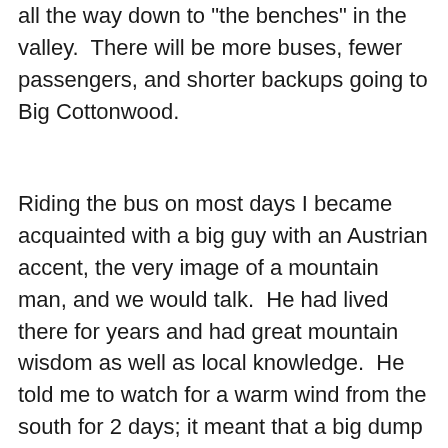all the way down to "the benches" in the valley.  There will be more buses, fewer passengers, and shorter backups going to Big Cottonwood.
Riding the bus on most days I became acquainted with a big guy with an Austrian accent, the very image of a mountain man, and we would talk.  He had lived there for years and had great mountain wisdom as well as local knowledge.  He told me to watch for a warm wind from the south for 2 days; it meant that a big dump was coming .  It made instant sense.  Storms in the northern hemisphere have counterclockwise circulation and if coming straight from the west, winds on the advance edge will be from the south.  2 days of south wind meant a big one.  He was also an avid summer hiker.  He told of rounding a corner on a